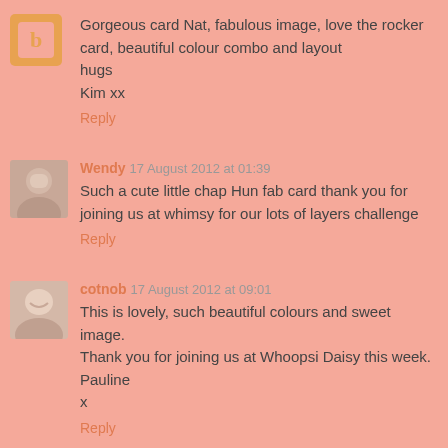[Figure (photo): Blogger orange avatar icon with 'b' letter, top-left of first comment]
Gorgeous card Nat, fabulous image, love the rocker card, beautiful colour combo and layout
hugs
Kim xx
Reply
[Figure (photo): Small photo of Wendy, a woman, avatar for second comment]
Wendy 17 August 2012 at 01:39
Such a cute little chap Hun fab card thank you for joining us at whimsy for our lots of layers challenge
Reply
[Figure (photo): Small photo of cotnob, a smiling woman, avatar for third comment]
cotnob 17 August 2012 at 09:01
This is lovely, such beautiful colours and sweet image.
Thank you for joining us at Whoopsi Daisy this week.
Pauline
x
Reply